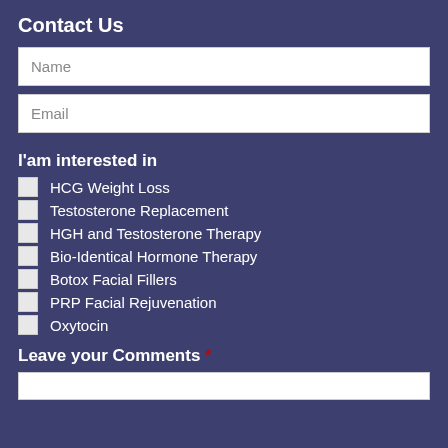Contact Us
Name
Email
I'am interested in
HCG Weight Loss
Testosterone Replacement
HGH and Testosterone Therapy
Bio-Identical Hormone Therapy
Botox Facial Fillers
PRP Facial Rejuvenation
Oxytocin
Leave your Comments